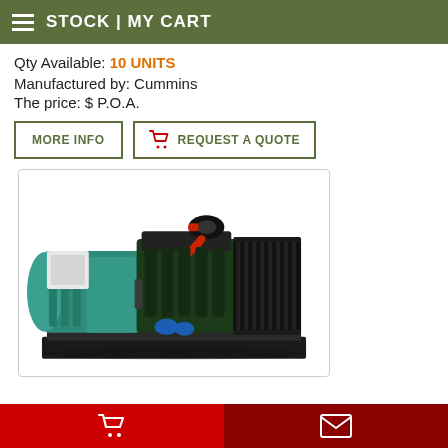STOCK | MY CART
Qty Available: 10 UNITS
Manufactured by: Cummins
The price: $ P.O.A.
MORE INFO | REQUEST A QUOTE
[Figure (photo): Industrial diesel generator set (Cummins) with teal/green alternator housing, black engine block with turbo, mounted on a black steel skid base]
Cart icon | Envelope icon